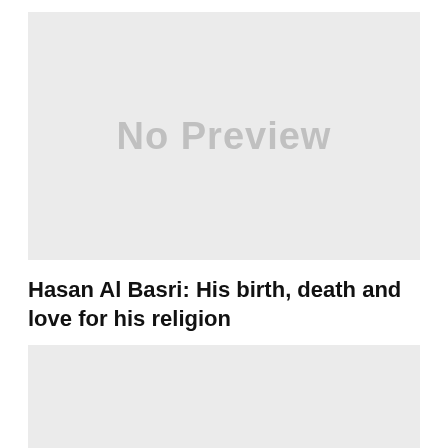[Figure (other): No Preview placeholder image — light gray rectangle with 'No Preview' text]
Hasan Al Basri: His birth, death and love for his religion
[Figure (photo): Partial image preview cut off at bottom of page — light gray rectangle with faint figure visible at the bottom edge]